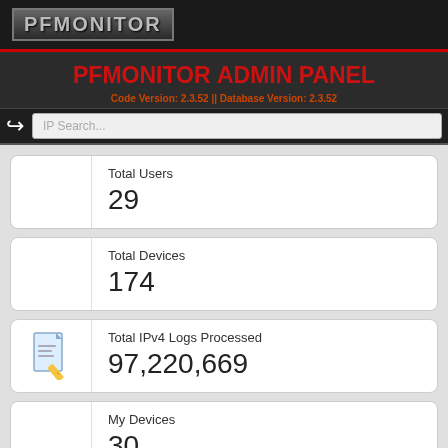PFMONITOR
PFMonitor Admin Panel
Code Version: 2.3.52 || Database Version: 2.3.52
IP Search...
Total Users
29
Total Devices
174
Total IPv4 Logs Processed
97,220,669
My Devices
30